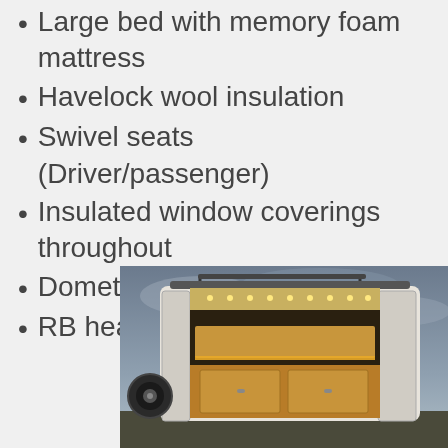Large bed with memory foam mattress
Havelock wool insulation
Swivel seats (Driver/passenger)
Insulated window coverings throughout
Dometic cassette toilette
RB headliner storage shelf
[Figure (photo): Rear view of a white camper van with doors open, showing wooden interior with LED lighting, storage compartments, and a spare tire on the side, photographed against a cloudy sky]